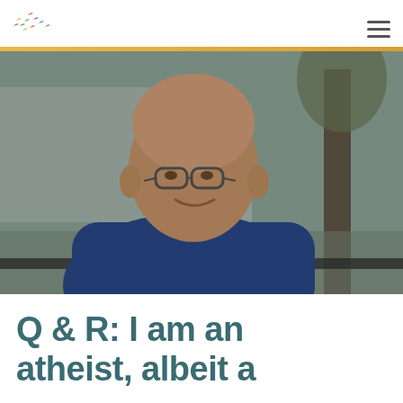[Logo: colorful birds] [Hamburger menu icon]
[Figure (photo): Outdoor photo of a bald middle-aged man wearing glasses and a navy blue polo shirt, sitting outside near trees and a building, smiling slightly toward the camera.]
Q & R: I am an atheist, albeit a